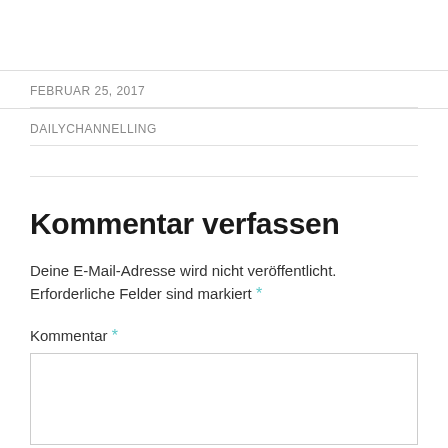FEBRUAR 25, 2017
DAILYCHANNELLING
Kommentar verfassen
Deine E-Mail-Adresse wird nicht veröffentlicht. Erforderliche Felder sind markiert *
Kommentar *